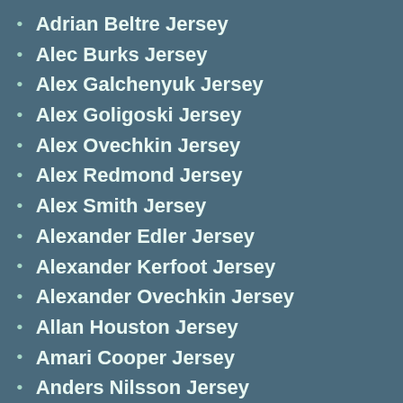Adrian Beltre Jersey
Alec Burks Jersey
Alex Galchenyuk Jersey
Alex Goligoski Jersey
Alex Ovechkin Jersey
Alex Redmond Jersey
Alex Smith Jersey
Alexander Edler Jersey
Alexander Kerfoot Jersey
Alexander Ovechkin Jersey
Allan Houston Jersey
Amari Cooper Jersey
Anders Nilsson Jersey
Andrew Billings Jersey
Andrew Heaney Jersey
Antonio Callaway Jersey
Armani Watts Jersey